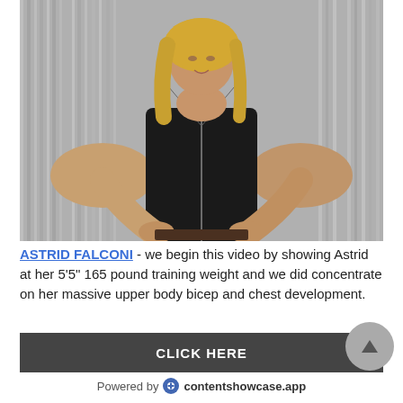[Figure (photo): A muscular blonde woman in a black sleeveless leather vest posing with hands on hips, showing large biceps and upper body muscle development, against a silvery metallic curtain background.]
ASTRID FALCONI - we begin this video by showing Astrid at her 5'5" 165 pound training weight and we did concentrate on her massive upper body bicep and chest development.
CLICK HERE
Powered by contentshowcase.app